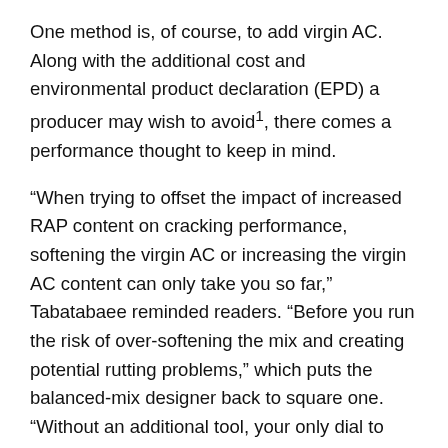One method is, of course, to add virgin AC. Along with the additional cost and environmental product declaration (EPD) a producer may wish to avoid¹, there comes a performance thought to keep in mind.
“When trying to offset the impact of increased RAP content on cracking performance, softening the virgin AC or increasing the virgin AC content can only take you so far,” Tabatabaee reminded readers. “Before you run the risk of over-softening the mix and creating potential rutting problems,” which puts the balanced-mix designer back to square one. “Without an additional tool, your only dial to adjust mix durability will be the virgin binder, which has a limited range in terms of either AC contents and grade. A good rejuvenator will increase the amount of effective contribution of the recycle binder, giving you a much wider window of opportunity for balancing the rutting and